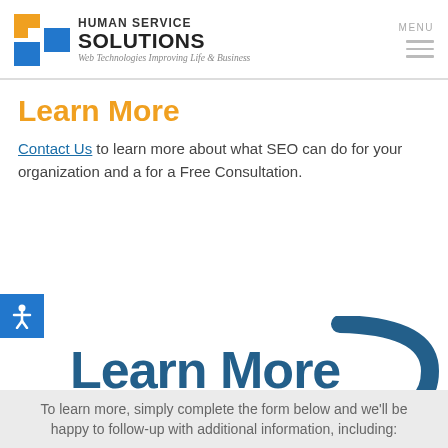[Figure (logo): Human Service Solutions logo with orange and blue icon, company name, and tagline 'Web Technologies Improving Life & Business']
Learn More
Contact Us to learn more about what SEO can do for your organization and a for a Free Consultation.
[Figure (illustration): Large 'Learn More' text in dark blue with a curved blue arrow pointing downward to the right]
To learn more, simply complete the form below and we'll be happy to follow-up with additional information, including: